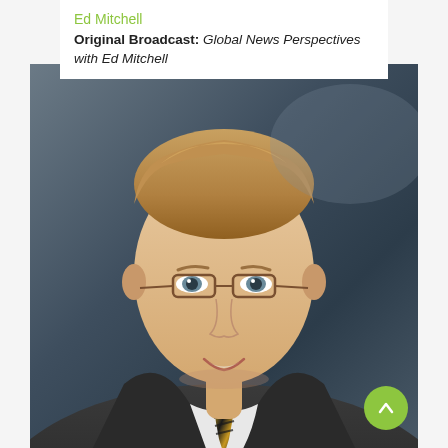Ed Mitchell
Original Broadcast: Global News Perspectives with Ed Mitchell
[Figure (photo): Professional headshot of Ed Mitchell, a man with light brown/blond hair wearing glasses, a dark suit jacket, white dress shirt, and a gold/black striped tie, photographed against a dark grey gradient background]